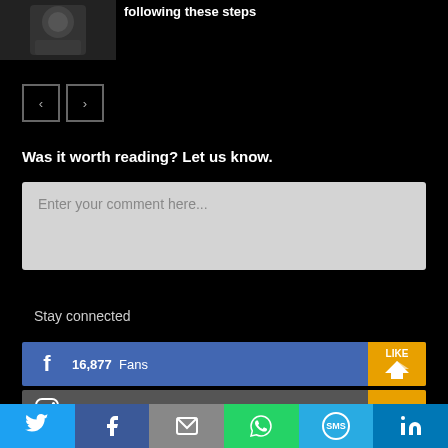[Figure (photo): Thumbnail image of a person or dark figure at top left]
following these steps
[Figure (other): Navigation previous and next arrow buttons]
Was it worth reading? Let us know.
Enter your comment here...
Stay connected
16,877  Fans
13,275  Followers
[Figure (infographic): Social sharing bar at bottom with Twitter, Facebook, Email, WhatsApp, SMS, LinkedIn icons]